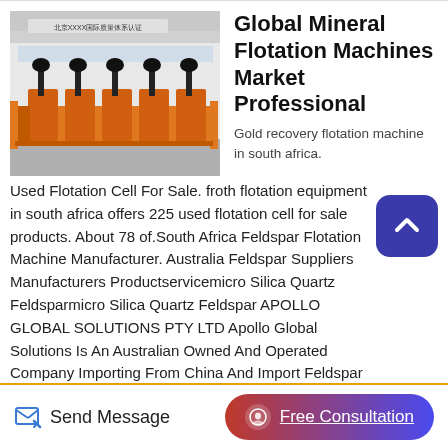[Figure (photo): Industrial orange mineral flotation machines lined up in a factory yard with a white building and Chinese signage in the background.]
Global Mineral Flotation Machines Market Professional
Gold recovery flotation machine in south africa. Used Flotation Cell For Sale. froth flotation equipment in south africa offers 225 used flotation cell for sale products. About 78 of.South Africa Feldspar Flotation Machine Manufacturer. Australia Feldspar Suppliers Manufacturers Productservicemicro Silica Quartz Feldsparmicro Silica Quartz Feldspar APOLLO GLOBAL SOLUTIONS PTY LTD Apollo Global Solutions Is An Australian Owned And Operated Company Importing From China And Import Feldspar Powder From India And Ship Our Product From Sydney And
Send Message
Free Consultation